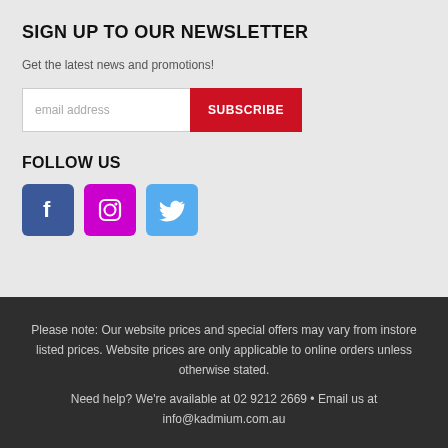SIGN UP TO OUR NEWSLETTER
Get the latest news and promotions!
[Figure (infographic): Email subscription form with text input field for email address and a red SUBSCRIBE button]
FOLLOW US
[Figure (infographic): Three social media icons: Facebook (blue), Instagram (magenta/pink), Twitter (light blue)]
Please note: Our website prices and special offers may vary from instore listed prices. Website prices are only applicable to online orders unless otherwise stated.
Need help? We're available at 02 9212 2669 • Email us at info@kadmium.com.au